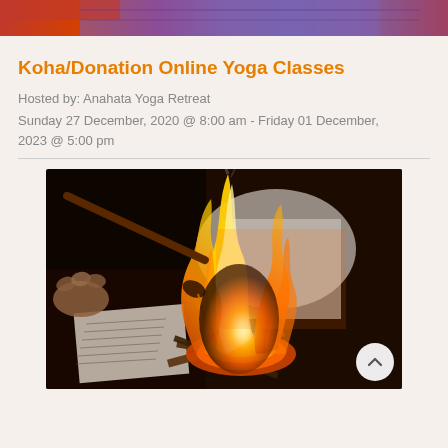[Figure (photo): Top portion of a yoga class image showing purple yoga mats and a person in red clothing, cropped at the bottom]
Koha/Donation Online Yoga Classes
Hosted by: Anahata Yoga Retreat
Sunday 27 December, 2020 @ 8:00 am - Friday 01 December, 2023 @ 5:00 pm
[Figure (photo): Close-up photograph of a fire ritual (havan/puja) showing flames, burning wood/sticks, hands holding a ceremonial spoon/ladle, and papers/texts in the background]